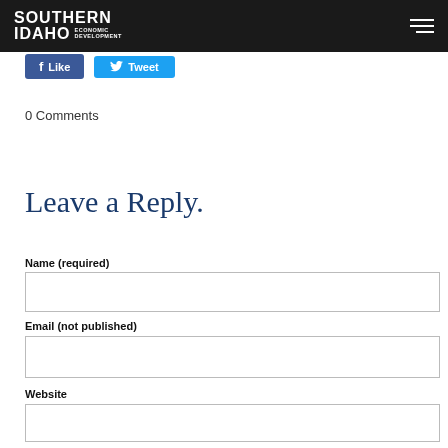SOUTHERN IDAHO ECONOMIC DEVELOPMENT
[Figure (screenshot): Facebook Like button and Twitter Tweet button]
0 Comments
Leave a Reply.
Name (required)
Email (not published)
Website